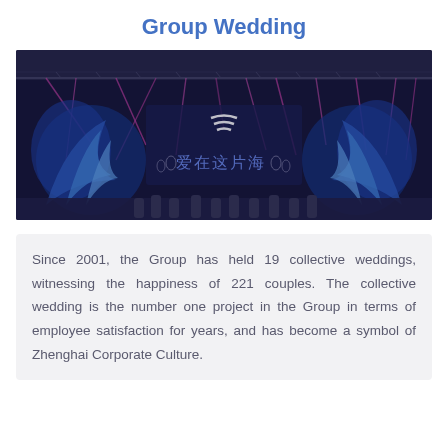Group Wedding
[Figure (photo): A grand wedding ceremony stage with blue and purple spotlights beaming down. Blue flame-like decorative wings flank a central stage backdrop with Chinese characters reading '爱在这片海' (Love in this sea). A company logo is visible on the stage backdrop. Row of people visible at the bottom of the stage.]
Since 2001, the Group has held 19 collective weddings, witnessing the happiness of 221 couples. The collective wedding is the number one project in the Group in terms of employee satisfaction for years, and has become a symbol of Zhenghai Corporate Culture.